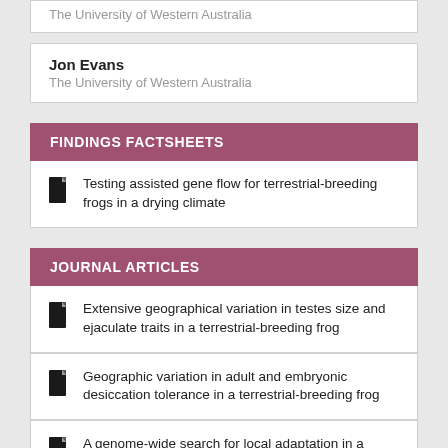The University of Western Australia
Jon Evans
The University of Western Australia
FINDINGS FACTSHEETS
Testing assisted gene flow for terrestrial-breeding frogs in a drying climate
JOURNAL ARTICLES
Extensive geographical variation in testes size and ejaculate traits in a terrestrial-breeding frog
Geographic variation in adult and embryonic desiccation tolerance in a terrestrial-breeding frog
A genome-wide search for local adaptation in a terrestrial-breeding frog reveals vulnerability to climate change